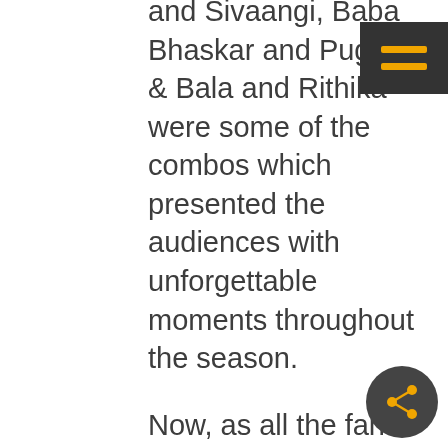and Sivaangi, Baba Bhaskar and Pugazh & Bala and Rithika were some of the combos which presented the audiences with unforgettable moments throughout the season.
Now, as all the fans are looking forward to the third season which is expected to be out soon, all eyes are on the new contestant list and also are eagerly waiting to know if their favourite Comalis would also be part of this upcoming season as well.
Saying this, seems like Sivaangi and Pugazh won't be seen in Season 3 as the duo has bagged a number of films and the shoot for the same have